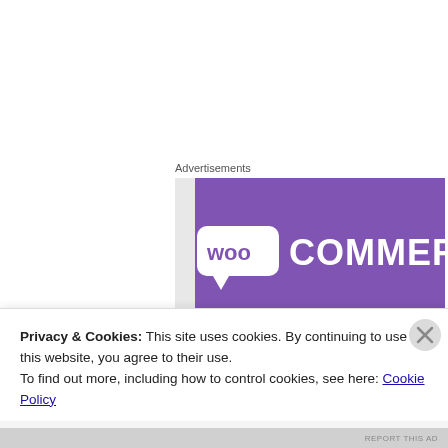Advertisements
[Figure (logo): WooCommerce advertisement banner with purple background showing WooCommerce logo in white text and a teal green triangle accent]
[Figure (logo): Best kids bikes logo — teal geometric star/flower shape icon with the text 'best kids bikes' in light gray]
Privacy & Cookies: This site uses cookies. By continuing to use this website, you agree to their use.
To find out more, including how to control cookies, see here: Cookie Policy
Close and accept